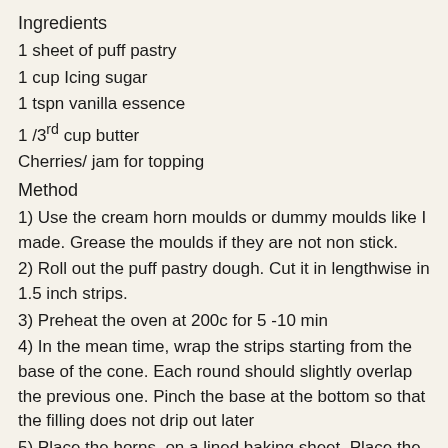Ingredients
1 sheet of puff pastry
1 cup Icing sugar
1 tspn vanilla essence
1 /3rd cup butter
Cherries/ jam for topping
Method
1) Use the cream horn moulds or dummy moulds like I made. Grease the moulds if they are not non stick.
2) Roll out the puff pastry dough. Cut it in lengthwise in 1.5 inch strips.
3) Preheat the oven at 200c for 5 -10 min
4) In the mean time, wrap the strips starting from the base of the cone. Each round should slightly overlap the previous one. Pinch the base at the bottom so that the filling does not drip out later
5) Place the horns, on a lined baking sheet. Place the rack in the middle of the rack
6) Bake for 15 min. Toss over if you find the base becoming